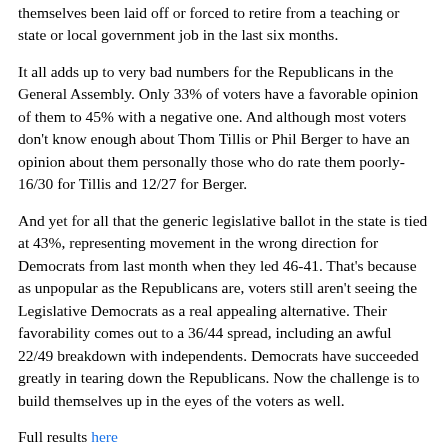themselves been laid off or forced to retire from a teaching or state or local government job in the last six months.
It all adds up to very bad numbers for the Republicans in the General Assembly. Only 33% of voters have a favorable opinion of them to 45% with a negative one. And although most voters don't know enough about Thom Tillis or Phil Berger to have an opinion about them personally those who do rate them poorly- 16/30 for Tillis and 12/27 for Berger.
And yet for all that the generic legislative ballot in the state is tied at 43%, representing movement in the wrong direction for Democrats from last month when they led 46-41. That's because as unpopular as the Republicans are, voters still aren't seeing the Legislative Democrats as a real appealing alternative. Their favorability comes out to a 36/44 spread, including an awful 22/49 breakdown with independents. Democrats have succeeded greatly in tearing down the Republicans. Now the challenge is to build themselves up in the eyes of the voters as well.
Full results here